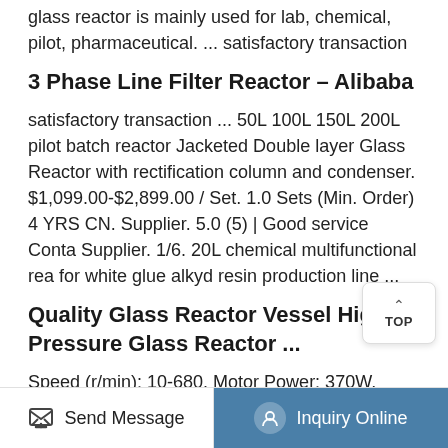glass reactor is mainly used for lab, chemical, pilot, pharmaceutical. ... satisfactory transaction
3 Phase Line Filter Reactor – Alibaba
satisfactory transaction ... 50L 100L 150L 200L pilot batch reactor Jacketed Double layer Glass Reactor with rectification column and condenser. $1,099.00-$2,899.00 / Set. 1.0 Sets (Min. Order) 4 YRS CN. Supplier. 5.0 (5) | Good service Conta Supplier. 1/6. 20L chemical multifunctional rea for white glue alkyd resin production line ...
Quality Glass Reactor Vessel High Pressure Glass Reactor ...
Speed (r/min): 10-680. Motor Power: 370W. Inside/outside Tube Dia:: 600*550. Certification: